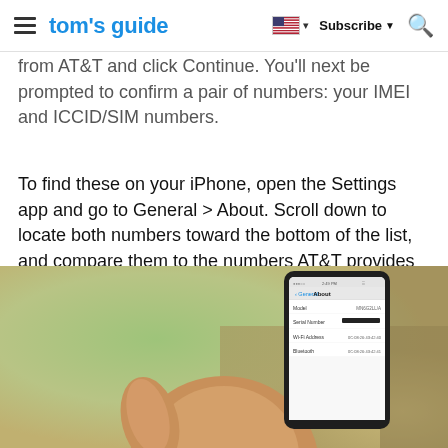tom's guide — Subscribe — Search
from AT&T and click Continue. You'll next be prompted to confirm a pair of numbers: your IMEI and ICCID/SIM numbers.
To find these on your iPhone, open the Settings app and go to General > About. Scroll down to locate both numbers toward the bottom of the list, and compare them to the numbers AT&T provides to make sure they match.
[Figure (photo): A hand holding an iPhone displaying the General > About settings screen, showing fields for Model, Serial Number, Wi-Fi Address, and Bluetooth against a blurred green/tan background.]